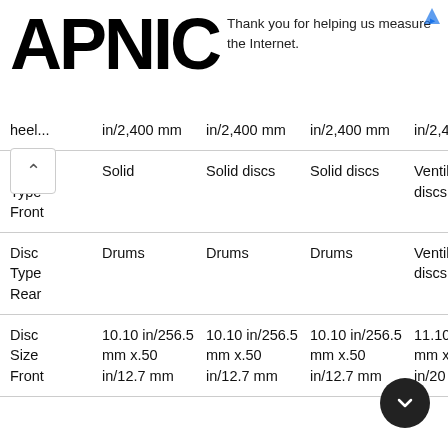APNIC — Thank you for helping us measure the Internet.
|  | Col1 | Col2 | Col3 | Col4 |
| --- | --- | --- | --- | --- |
| heel... | in/2,400 mm | in/2,400 mm | in/2,400 mm | in/2,400 mm |
| Disc Type Front | Solid | Solid discs | Solid discs | Ventil... discs |
| Disc Type Rear | Drums | Drums | Drums | Ventil... discs |
| Disc Size Front | 10.10 in/256.5 mm x.50 in/12.7 mm | 10.10 in/256.5 mm x.50 in/12.7 mm | 10.10 in/256.5 mm x.50 in/12.7 mm | 11.10 in/282 mm x 0.79 in/20 mm |